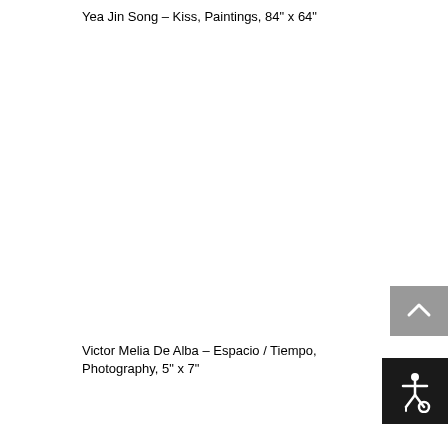Yea Jin Song – Kiss, Paintings, 84" x 64"
Victor Melia De Alba – Espacio / Tiempo, Photography, 5" x 7"